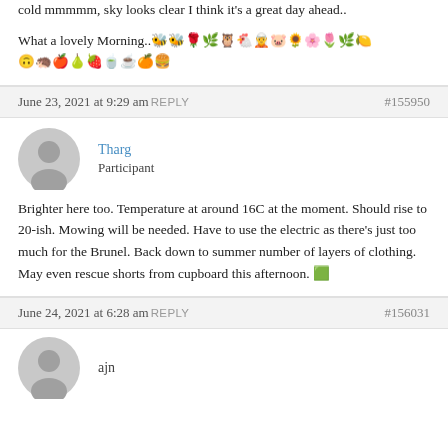cold mmmmm, sky looks clear I think it's a great day ahead..
What a lovely Morning.. [emojis]
June 23, 2021 at 9:29 am REPLY #155950
Tharg
Participant
Brighter here too. Temperature at around 16C at the moment. Should rise to 20-ish. Mowing will be needed. Have to use the electric as there's just too much for the Brunel. Back down to summer number of layers of clothing. May even rescue shorts from cupboard this afternoon. 🟩
June 24, 2021 at 6:28 am REPLY #156031
ajn